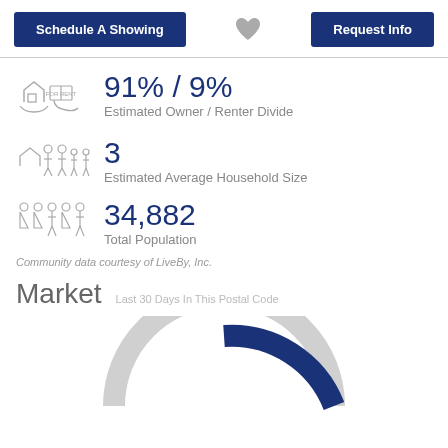Schedule A Showing | ♥ | Request Info
[Figure (infographic): House/for-rent icon with owner renter divide stat: 91% / 9% Estimated Owner / Renter Divide]
91% / 9%
Estimated Owner / Renter Divide
[Figure (infographic): House with family icon for average household size stat: 3]
3
Estimated Average Household Size
[Figure (infographic): Group of people icons for total population stat: 34,882]
34,882
Total Population
Community data courtesy of LiveBy, Inc.
Market
Last 30 Days In This Postal Code
[Figure (donut-chart): Partial donut chart showing market data, dark blue arc on light gray ring, partially visible at bottom of page]